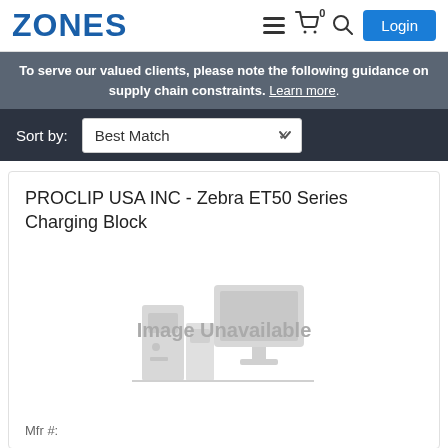ZONES
To serve our valued clients, please note the following guidance on supply chain constraints. Learn more.
Sort by: Best Match
PROCLIP USA INC - Zebra ET50 Series Charging Block
[Figure (illustration): Image Unavailable placeholder showing silhouetted computer equipment (desktop tower, monitor, peripherals) in light gray]
Mfr #: